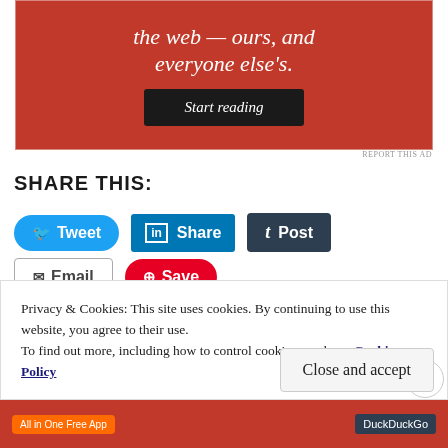[Figure (screenshot): Red advertisement banner with italic white text and a dark 'Start reading' button]
REPORT THIS AD
SHARE THIS:
[Figure (screenshot): Social media share buttons: Tweet (blue, rounded), Share (LinkedIn blue), Post (dark), Email (outlined), Save (Pinterest red)]
Privacy & Cookies: This site uses cookies. By continuing to use this website, you agree to their use.
To find out more, including how to control cookies, see here: Cookie Policy
[Figure (screenshot): Bottom advertisement bar with 'All in One Free App' orange button and DuckDuckGo dark button]